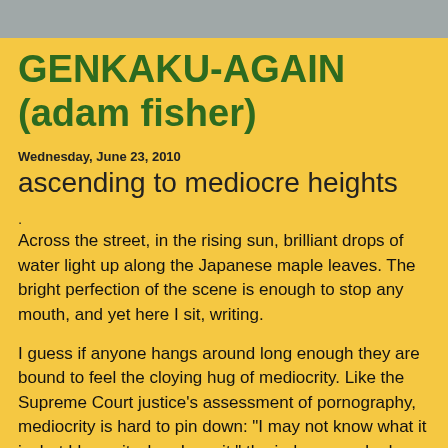GENKAKU-AGAIN (adam fisher)
Wednesday, June 23, 2010
ascending to mediocre heights
.
Across the street, in the rising sun, brilliant drops of water light up along the Japanese maple leaves. The bright perfection of the scene is enough to stop any mouth, and yet here I sit, writing.
I guess if anyone hangs around long enough they are bound to feel the cloying hug of mediocrity. Like the Supreme Court justice's assessment of pornography, mediocrity is hard to pin down: "I may not know what it is, but I know it when I see it," the judge remarked about the habits of the scantily clad.